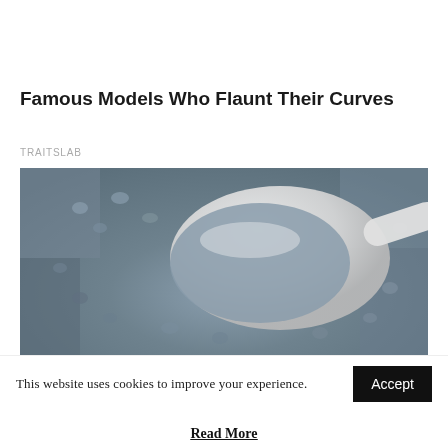Famous Models Who Flaunt Their Curves
TRAITSLAB
[Figure (photo): Close-up photo of small grey pearls or caviar beads piled in and around a white ceramic spoon against a white bowl background]
This website uses cookies to improve your experience.
Read More